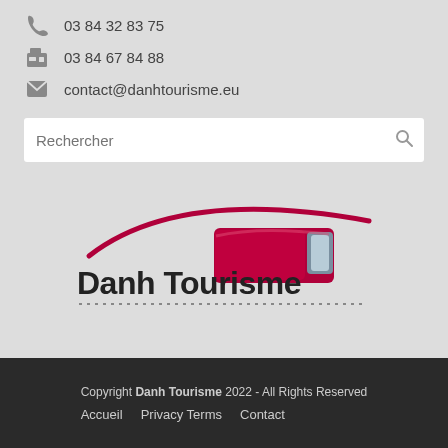03 84 32 83 75
03 84 67 84 88
contact@danhtourisme.eu
Rechercher
[Figure (logo): Danh Tourisme logo with red bus silhouette and swoosh arc above text]
Copyright Danh Tourisme 2022 - All Rights Reserved
Accueil  Privacy Terms  Contact